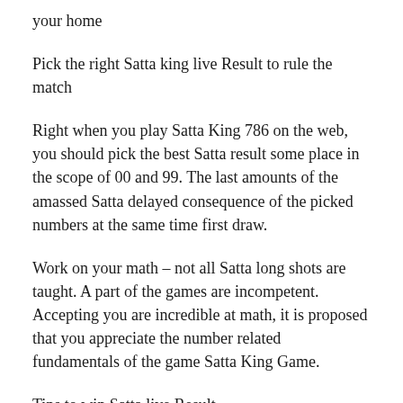your home
Pick the right Satta king live Result to rule the match
Right when you play Satta King 786 on the web, you should pick the best Satta result some place in the scope of 00 and 99. The last amounts of the amassed Satta delayed consequence of the picked numbers at the same time first draw.
Work on your math – not all Satta long shots are taught. A part of the games are incompetent. Accepting you are incredible at math, it is proposed that you appreciate the number related fundamentals of the game Satta King Game.
Tips to win Satta live Result
Before you start playing the round of Satta, you need